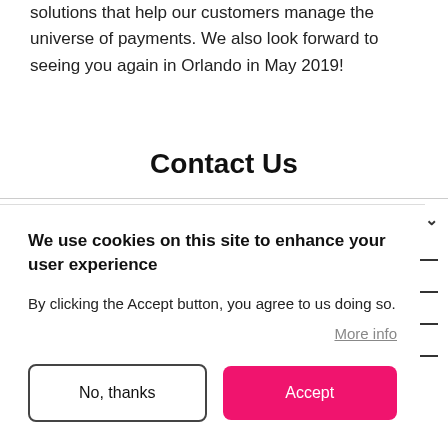solutions that help our customers manage the universe of payments. We also look forward to seeing you again in Orlando in May 2019!
Contact Us
We use cookies on this site to enhance your user experience
By clicking the Accept button, you agree to us doing so.
More info
No, thanks
Accept